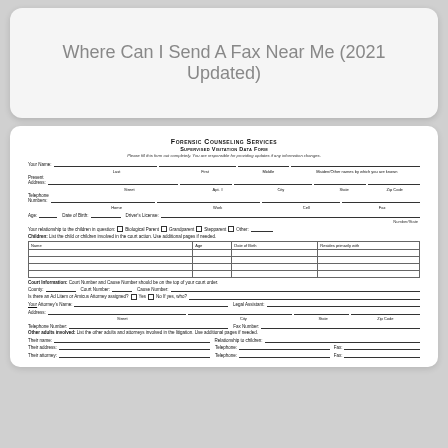Where Can I Send A Fax Near Me (2021 Updated)
[Figure (screenshot): Forensic Counseling Services Supervised Visitation Data Form — a legal intake form with fields for name, address, telephone, age, date of birth, driver's license, relationship checkboxes, children table, court information, attorney information, and other adults involved.]